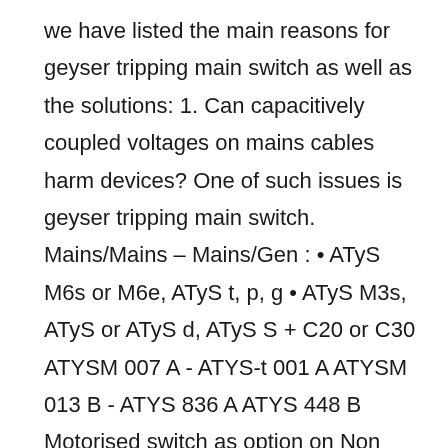we have listed the main reasons for geyser tripping main switch as well as the solutions: 1. Can capacitively coupled voltages on mains cables harm devices? One of such issues is geyser tripping main switch. Mains/Mains – Mains/Gen : • ATyS M6s or M6e, ATyS t, p, g • ATyS M3s, ATyS or ATyS d, ATyS S + C20 or C30 ATYSM 007 A - ATYS-t 001 A ATYSM 013 B - ATYS 836 A ATYS 448 B Motorised switch as option on Non Critical Loads • SIRCO MOT AT Operation • Only 2 or 3 emergency handles instead of 4 • Redundancy of P3 • Secured